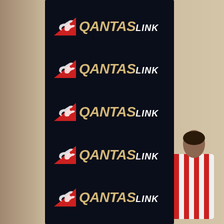[Figure (photo): A tall dark navy banner/backdrop with the QantasLink logo repeated 5 times vertically. Each logo instance shows the red Qantas kangaroo triangle on the left, followed by 'QANTAS' in bold italic gold/tan lettering and 'LINK' in bold italic white lettering. A person in a red and white striped shirt is partially visible on the right side of the image. The left side shows a beige/tan wall.]